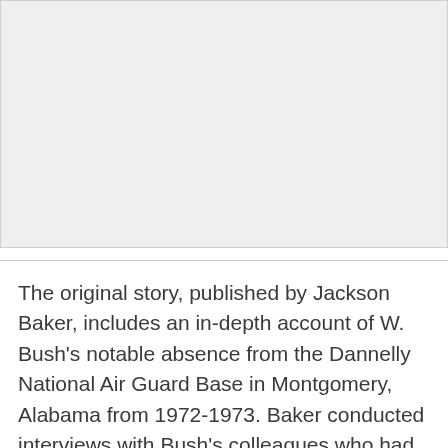[Figure (other): Large light gray placeholder image area occupying the upper portion of the page]
The original story, published by Jackson Baker, includes an in-depth account of W. Bush's notable absence from the Dannelly National Air Guard Base in Montgomery, Alabama from 1972-1973. Baker conducted interviews with Bush's colleagues who had heard that someone from a political family